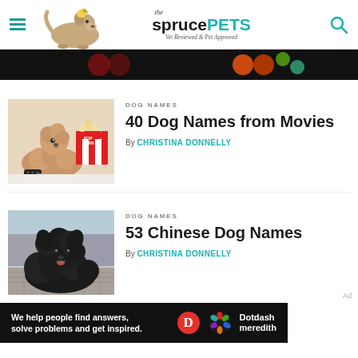the spruce PETS — Vet Reviewed & Pet Approved
[Figure (screenshot): Dark advertisement banner at top of page]
[Figure (photo): Golden/apricot poodle dog lying next to a red and white popcorn box and a TV remote on a white surface]
DOG NAMES
40 Dog Names from Movies
By CHRISTINA DONNELLY
[Figure (photo): Large fluffy black dog, possibly a Tibetan Mastiff or Newfoundland, sitting on a cobblestone street]
DOG NAMES
53 Chinese Dog Names
By CHRISTINA DONNELLY
[Figure (screenshot): Dotdash Meredith advertisement banner at bottom: 'We help people find answers, solve problems and get inspired.']